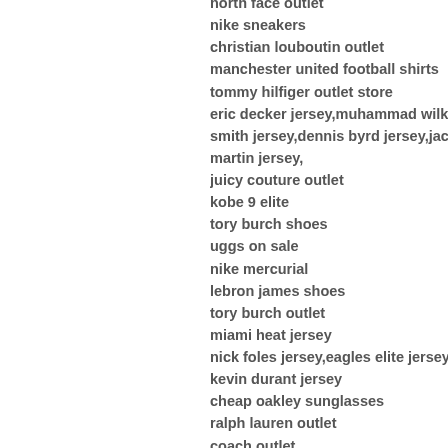north face outlet
nike sneakers
christian louboutin outlet
manchester united football shirts
tommy hilfiger outlet store
eric decker jersey,muhammad wilkerson smith jersey,dennis byrd jersey,jace amaro martin jersey,
juicy couture outlet
kobe 9 elite
tory burch shoes
uggs on sale
nike mercurial
lebron james shoes
tory burch outlet
miami heat jersey
nick foles jersey,eagles elite jersey
kevin durant jersey
cheap oakley sunglasses
ralph lauren outlet
coach outlet
nike air huarache,nike huarache,nike huarache shoes
coach outlet online
hermes birkin
true religion jeans,cheap true religion jeans wholesale,true religion outlet,true religion
michael jordan jersey
chanel sunglasses
chanel outlet
jordan 12